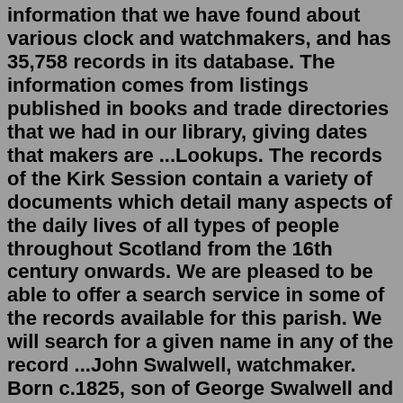information that we have found about various clock and watchmakers, and has 35,758 records in its database. The information comes from listings published in books and trade directories that we had in our library, giving dates that makers are ...Lookups. The records of the Kirk Session contain a variety of documents which detail many aspects of the daily lives of all types of people throughout Scotland from the 16th century onwards. We are pleased to be able to offer a search service in some of the records available for this parish. We will search for a given name in any of the record ...John Swalwell, watchmaker. Born c.1825, son of George Swalwell and Tamar (nee Rippon). His mother was sister to William Rippon watch and clock maker in South Shields. John Swalwell listed as watchmaker in Westoe, South Shields, Durham in 1851 and 1861 census. Buried age 45, 20 Oct 1870 Westoe, Durham.. A vastly more comprehensive book is Watchmakers & Clockmakers of the World, compiled and first published by G. H. Baillie in 1929 and at that time